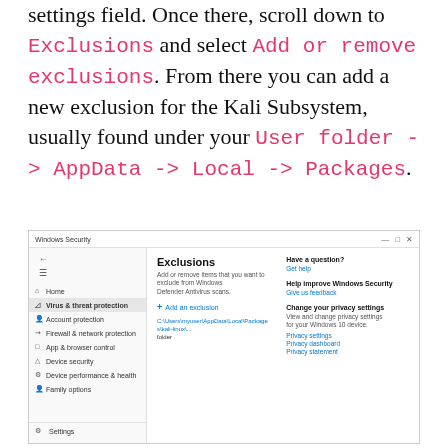settings field. Once there, scroll down to Exclusions and select Add or remove exclusions. From there you can add a new exclusion for the Kali Subsystem, usually found under your User folder -> AppData -> Local -> Packages.
[Figure (screenshot): Windows Security application window showing the Exclusions settings page. Left sidebar shows navigation items including Home, Virus & threat protection (highlighted), Account protection, Firewall & network protection, App & browser control, Device security, Device performance & health, Family options, and Settings at bottom. Main content shows Exclusions heading with description 'Add or remove items that you want to exclude from Windows Defender Antivirus scans', a '+ Add an exclusion' button, and a file path entry. Right panel shows Help section with 'Have a question? Get help', 'Help improve Windows Security' with 'Give us feedback', and 'Change your privacy settings' section with Privacy settings, Privacy dashboard, and Privacy statement links.]